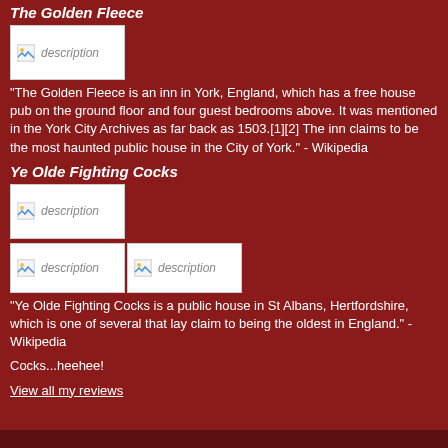The Golden Fleece
[Figure (photo): Image placeholder for The Golden Fleece]
"The Golden Fleece is an inn in York, England, which has a free house pub on the ground floor and four guest bedrooms above. It was mentioned in the York City Archives as far back as 1503.[1][2] The inn claims to be the most haunted public house in the City of York." - Wikipedia
Ye Olde Fighting Cocks
[Figure (photo): Image placeholder for Ye Olde Fighting Cocks (top)]
[Figure (photo): Image placeholders for Ye Olde Fighting Cocks (bottom row, two images)]
"Ye Olde Fighting Cocks is a public house in St Albans, Hertfordshire, which is one of several that lay claim to being the oldest in England." - Wikipedia
Cocks...heehee!
View all my reviews